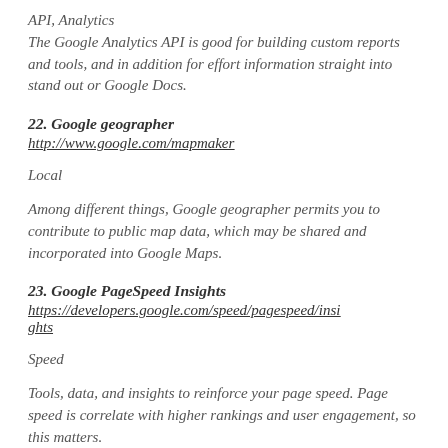API, Analytics
The Google Analytics API is good for building custom reports and tools, and in addition for effort information straight into stand out or Google Docs.
22. Google geographer
http://www.google.com/mapmaker
Local
Among different things, Google geographer permits you to contribute to public map data, which may be shared and incorporated into Google Maps.
23. Google PageSpeed Insights
https://developers.google.com/speed/pagespeed/insights
Speed
Tools, data, and insights to reinforce your page speed. Page speed is correlate with higher rankings and user engagement, so this matters.
24. Google cognition
http://www.google.com/publicdata/directory